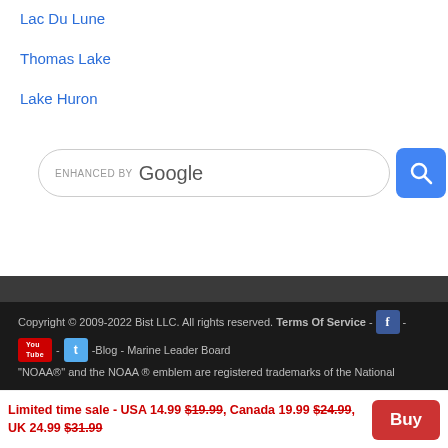Lac Du Lune
Thomas Lake
Lake Huron
[Figure (screenshot): Google search bar with 'ENHANCED BY Google' text and a blue search button with magnifying glass icon]
Copyright © 2009-2022 Bist LLC. All rights reserved. Terms Of Service - [Facebook icon] - [YouTube icon] - [Twitter icon] -Blog - Marine Leader Board
"NOAA®" and the NOAA ® emblem are registered trademarks of the National
Limited time sale - USA 14.99 $19.99, Canada 19.99 $24.99, UK 24.99 $31.99